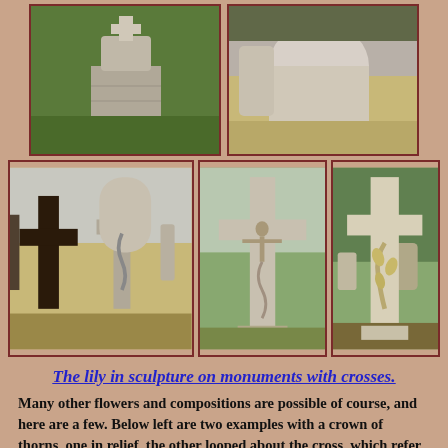[Figure (photo): Five photographs of cemetery monuments with crosses. Top row: two stone grave markers with crosses in a cemetery. Bottom row: three stone crosses in cemetery settings, including one with a corpus (crucifix) and one decorated with lily/wheat carvings.]
The lily in sculpture on monuments with crosses.
Many other flowers and compositions are possible of course, and here are a few. Below left are two examples with a crown of thorns, one in relief, the other looped about the cross, which refer of course to